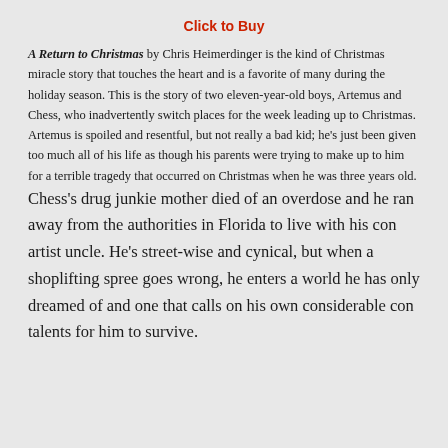Click to Buy
A Return to Christmas by Chris Heimerdinger is the kind of Christmas miracle story that touches the heart and is a favorite of many during the holiday season. This is the story of two eleven-year-old boys, Artemus and Chess, who inadvertently switch places for the week leading up to Christmas. Artemus is spoiled and resentful, but not really a bad kid; he's just been given too much all of his life as though his parents were trying to make up to him for a terrible tragedy that occurred on Christmas when he was three years old. Chess's drug junkie mother died of an overdose and he ran away from the authorities in Florida to live with his con artist uncle. He's street-wise and cynical, but when a shoplifting spree goes wrong, he enters a world he has only dreamed of and one that calls on his own considerable con talents for him to survive.